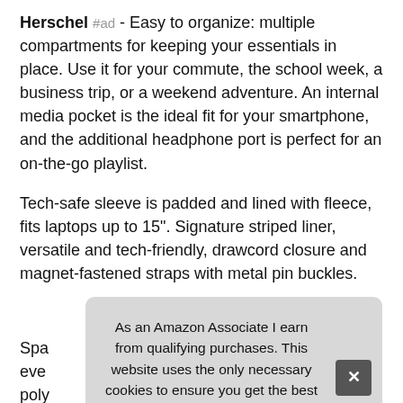Herschel #ad - Easy to organize: multiple compartments for keeping your essentials in place. Use it for your commute, the school week, a business trip, or a weekend adventure. An internal media pocket is the ideal fit for your smartphone, and the additional headphone port is perfect for an on-the-go playlist.
Tech-safe sleeve is padded and lined with fleece, fits laptops up to 15". Signature striped liner, versatile and tech-friendly, drawcord closure and magnet-fastened straps with metal pin buckles.
More information #ad
Spa... eve... poly... Con... breathable air mesh back padding, designed for a more
As an Amazon Associate I earn from qualifying purchases. This website uses the only necessary cookies to ensure you get the best experience on our website. More information